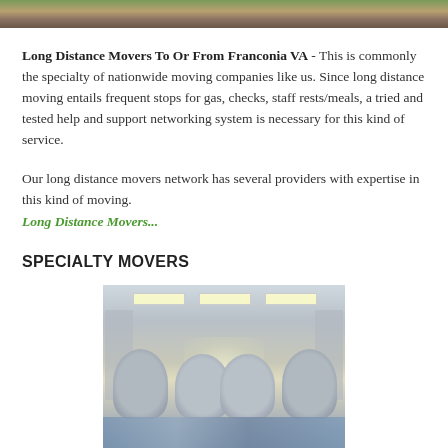[Figure (photo): Top portion of a photo showing an outdoor or residential scene, partially cropped at top of page]
Long Distance Movers To Or From Franconia VA - This is commonly the specialty of nationwide moving companies like us. Since long distance moving entails frequent stops for gas, checks, staff rests/meals, a tried and tested help and support networking system is necessary for this kind of service.
Our long distance movers network has several providers with expertise in this kind of moving.
Long Distance Movers...
SPECIALTY MOVERS
[Figure (photo): Interior photo of a hospital or medical facility room with medical equipment (appears to be incubators or medical devices) arranged symmetrically on both sides, with overhead lighting and blue floor]